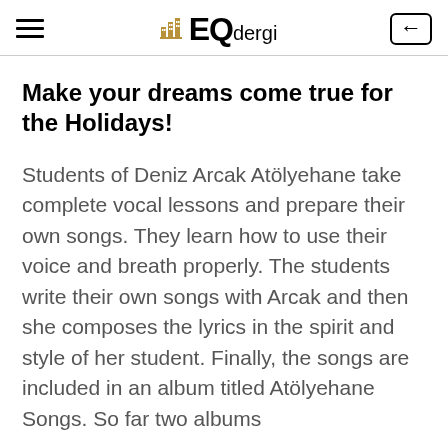EQdergi
Make your dreams come true for the Holidays!
Students of Deniz Arcak Atölyehane take complete vocal lessons and prepare their own songs. They learn how to use their voice and breath properly. The students write their own songs with Arcak and then she composes the lyrics in the spirit and style of her student. Finally, the songs are included in an album titled Atölyehane Songs. So far two albums